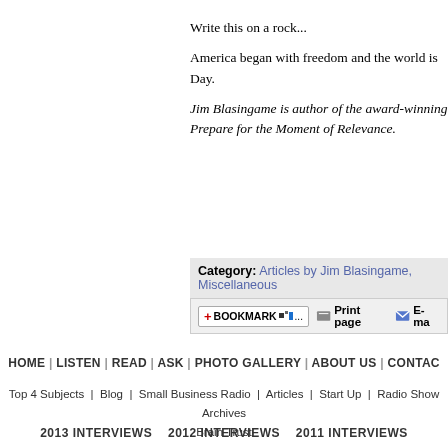Write this on a rock...
America began with freedom and the world is Day.
Jim Blasingame is author of the award-winning Prepare for the Moment of Relevance.
Category: Articles by Jim Blasingame, Miscellaneous
[Figure (screenshot): Bookmark and sharing toolbar with BOOKMARK button, Print page and E-mail links]
HOME | LISTEN | READ | ASK | PHOTO GALLERY | ABOUT US | CONTAC
Top 4 Subjects | Blog | Small Business Radio | Articles | Start Up | Radio Show Archives Brain Trust
2013 INTERVIEWS   2012 INTERVIEWS   2011 INTERVIEWS